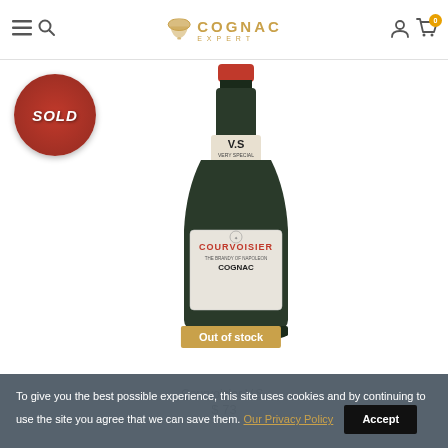Cognac Expert — navigation header with logo, hamburger menu, search, user, and cart icons
[Figure (photo): A bottle of Courvoisier V.S. Cognac with a red 'SOLD' stamp badge on the upper left and an 'Out of stock' amber label overlay at the bottom of the bottle. The bottle has a distinctive tapered shape with a white label reading 'COURVOISIER - THE BRANDY OF NAPOLEON - COGNAC' and 'V.S. VERY SPECIAL' on the neck.]
Courvoisier V.S.
$ 73
To give you the best possible experience, this site uses cookies and by continuing to use the site you agree that we can save them. Our Privacy Policy  Accept